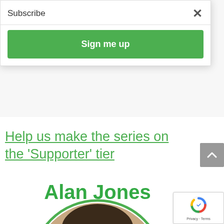Subscribe
Sign me up
Help us make the series on the 'Supporter' tier
Alan Jones
[Figure (photo): Circular profile photo of Alan Jones, a middle-aged man with short dark hair, looking at camera]
[Figure (other): reCAPTCHA badge with Privacy and Terms links]